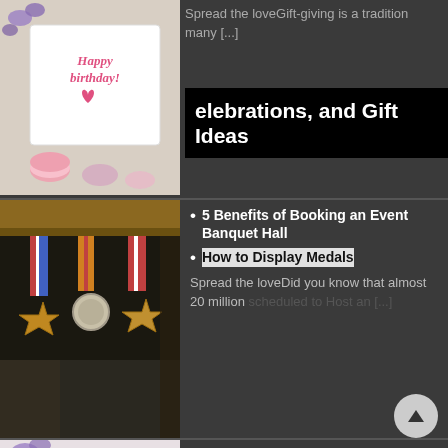[Figure (photo): Birthday card with 'Happy Birthday!' handwritten text and a heart, surrounded by flowers and macarons]
Spread the loveGift-giving is a tradition many [...]
elebrations, and Gift Ideas
[Figure (photo): Military medals hanging on display against a dark background]
5 Benefits of Booking an Event Banquet Hall
How to Display Medals
Spread the loveDid you know that almost 20 million scheduled to Host an [...]
[Figure (photo): Wedding rings on a white fluffy surface with a pink satin bow and pearl bracelet and pen nearby]
5 Creative Birthday Gift Ideas to Make People Feel Appreciated
6 Wedding Planning Tips For The Perfect Big Day
Spread the loveGift-giving is a tradition many [...] Spread the loveAccording to a survey conducted by [...]